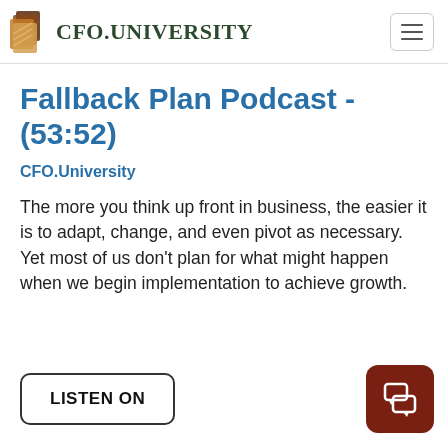CFO.UNIVERSITY
Fallback Plan Podcast - (53:52)
CFO.University
The more you think up front in business, the easier it is to adapt, change, and even pivot as necessary. Yet most of us don't plan for what might happen when we begin implementation to achieve growth.
LISTEN ON